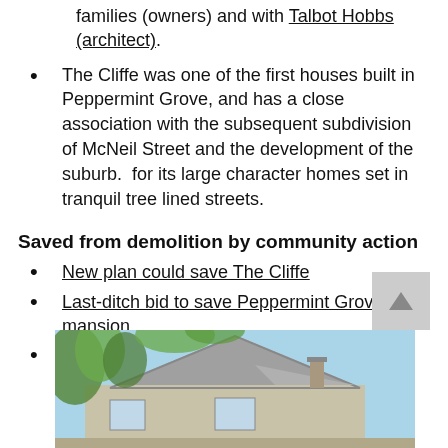families (owners) and with Talbot Hobbs (architect).
The Cliffe was one of the first houses built in Peppermint Grove, and has a close association with the subsequent subdivision of McNeil Street and the development of the suburb.  for its large character homes set in tranquil tree lined streets.
Saved from demolition by community action
New plan could save The Cliffe
Last-ditch bid to save Peppermint Grove mansion
House sale ends Triffids war
[Figure (photo): Exterior photograph of The Cliffe mansion showing roofline and gable with trees in foreground against blue sky]